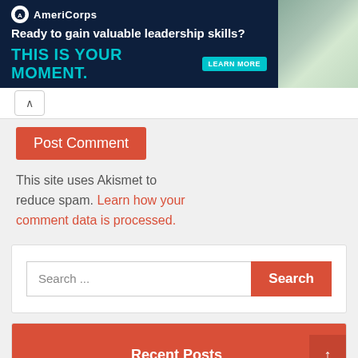[Figure (illustration): AmeriCorps advertisement banner with dark navy background. Logo and text: 'Ready to gain valuable leadership skills? THIS IS YOUR MOMENT.' with a teal LEARN MORE button. Photo of people on the right side.]
This site uses Akismet to reduce spam. Learn how your comment data is processed.
Search ...
Recent Posts
Uttar Pradesh Police Recruitment 2022 – Assistant